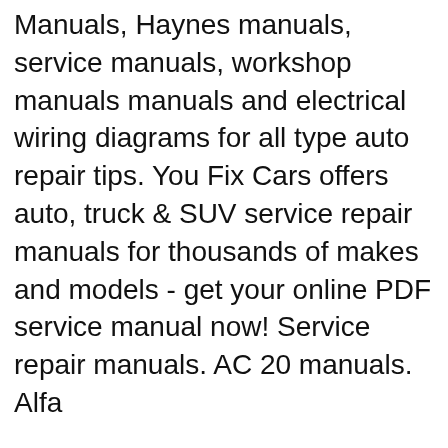Manuals, Haynes manuals, service manuals, workshop manuals manuals and electrical wiring diagrams for all type auto repair tips. You Fix Cars offers auto, truck & SUV service repair manuals for thousands of makes and models - get your online PDF service manual now! Service repair manuals. AC 20 manuals. Alfa
Save on Chilton parts with great deals at Advance Auto Parts. Buy online, pick up in-store in 30 minutes. Save on Chilton parts with great deals at Advance Auto Parts. Buy online, pick up in-store in 30 minutes. Chilton Chilton 2006 GM Diagnostic Service Manual. 0 star rated product (0 reviews)